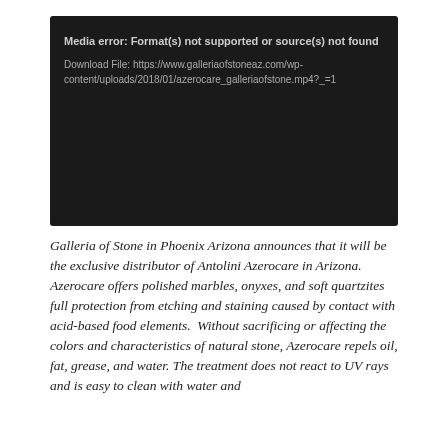[Figure (screenshot): Black media player error screen showing 'Media error: Format(s) not supported or source(s) not found' with a download file URL: https://www.galleriaofstoneaz.com/wp-content/uploads/2018/01/azerocare_galleriaofstone.mp4?_=1]
Galleria of Stone in Phoenix Arizona announces that it will be the exclusive distributor of Antolini Azerocare in Arizona. Azerocare offers polished marbles, onyxes, and soft quartzites full protection from etching and staining caused by contact with acid-based food elements.  Without sacrificing or affecting the colors and characteristics of natural stone, Azerocare repels oil, fat, grease, and water. The treatment does not react to UV rays and is easy to clean with water and